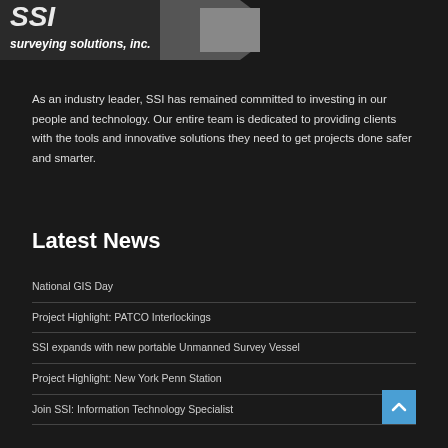[Figure (logo): SSI surveying solutions, inc. logo with chevron/arrow graphic and italic bold text]
As an industry leader, SSI has remained committed to investing in our people and technology. Our entire team is dedicated to providing clients with the tools and innovative solutions they need to get projects done safer and smarter.
Latest News
National GIS Day
Project Highlight: PATCO Interlockings
SSI expands with new portable Unmanned Survey Vessel
Project Highlight: New York Penn Station
Join SSI: Information Technology Specialist